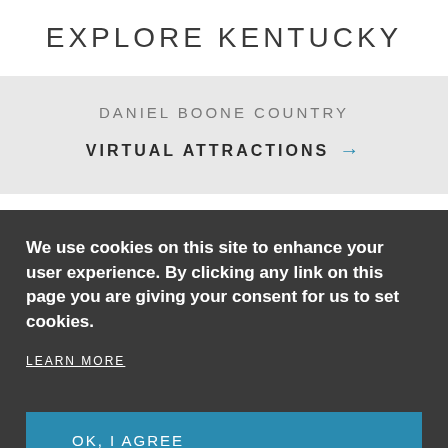EXPLORE KENTUCKY
DANIEL BOONE COUNTRY
VIRTUAL ATTRACTIONS →
We use cookies on this site to enhance your user experience. By clicking any link on this page you are giving your consent for us to set cookies.
LEARN MORE
OK, I AGREE